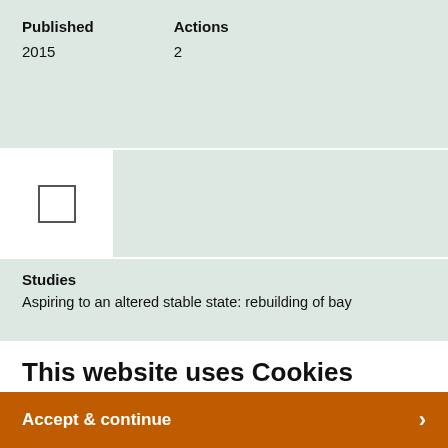| Published | Actions |
| --- | --- |
| 2015 | 2 |
[Figure (other): Checkbox row with an empty white checkbox cell on a light green background]
Studies
Aspiring to an altered stable state: rebuilding of bay
This website uses Cookies
We use Cookies to personalise content and ads, provide social media features and to analyse our traffic. By using this site, you will be providing your consent to our use of Cookies.
Accept & continue